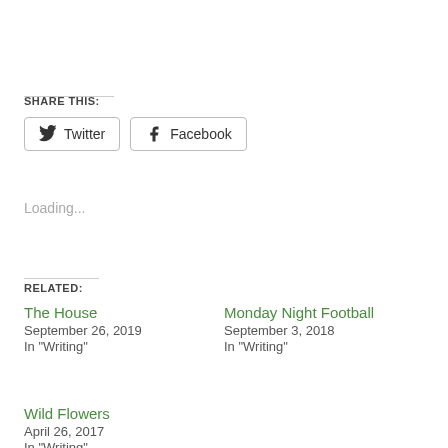SHARE THIS:
Twitter  Facebook
Loading...
RELATED:
The House
September 26, 2019
In "Writing"
Monday Night Football
September 3, 2018
In "Writing"
Wild Flowers
April 26, 2017
In "Writing"